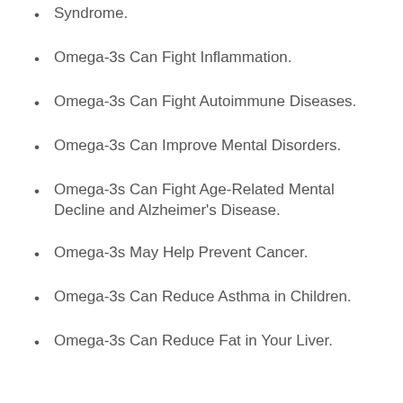Syndrome.
Omega-3s Can Fight Inflammation.
Omega-3s Can Fight Autoimmune Diseases.
Omega-3s Can Improve Mental Disorders.
Omega-3s Can Fight Age-Related Mental Decline and Alzheimer's Disease.
Omega-3s May Help Prevent Cancer.
Omega-3s Can Reduce Asthma in Children.
Omega-3s Can Reduce Fat in Your Liver.